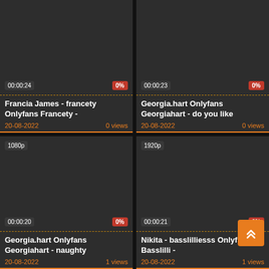[Figure (screenshot): Video thumbnail card top-left: duration 00:00:24, 0% rating, title 'Francia James - francety Onlyfans Francety -', date 20-08-2022, 0 views]
[Figure (screenshot): Video thumbnail card top-right: duration 00:00:23, 0% rating, title 'Georgia.hart Onlyfans Georgiahart - do you like', date 20-08-2022, 0 views]
[Figure (screenshot): Video thumbnail card bottom-left: resolution 1080p, duration 00:00:20, 0% rating, title 'Georgia.hart Onlyfans Georgiahart - naughty', date 20-08-2022, 1 views]
[Figure (screenshot): Video thumbnail card bottom-right: resolution 1920p, duration 00:00:21, 0% rating, title 'Nikita - basslilliesss Onlyfans Basslilli -', date 20-08-2022, 1 views]